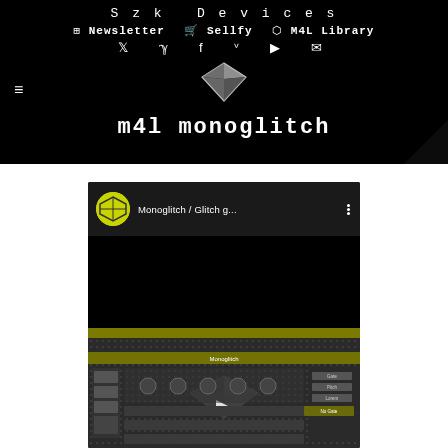Szk Devices
☰ Newsletter  🛒 Sellfy  ⬡ M4L Library
🐦 V f V ▶ ✉
m4l monoglitch
[Figure (screenshot): YouTube video embed showing 'Monoglitch / Glitch g...' with channel avatar on yellow circle background, three-dot menu, black video area, progress bar, and thumbnail of the Monoglitch M4L device interface]